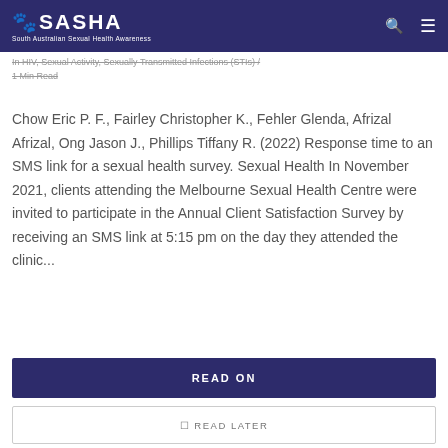SASHA - South Australian Sexual Health Awareness
In HIV, Sexual Activity, Sexually Transmitted Infections (STIs) / 1 Min Read
Chow Eric P. F., Fairley Christopher K., Fehler Glenda, Afrizal Afrizal, Ong Jason J., Phillips Tiffany R. (2022) Response time to an SMS link for a sexual health survey. Sexual Health In November 2021, clients attending the Melbourne Sexual Health Centre were invited to participate in the Annual Client Satisfaction Survey by receiving an SMS link at 5:15 pm on the day they attended the clinic...
READ ON
READ LATER